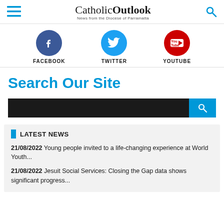CatholicOutlook — News from the Diocese of Parramatta
[Figure (infographic): Social media icons: Facebook (blue circle with f), Twitter (light blue circle with bird), YouTube (red circle with YouTube logo), each labeled below in bold uppercase]
Search Our Site
[Figure (screenshot): Search bar: dark input field with blue search button on right]
LATEST NEWS
21/08/2022  Young people invited to a life-changing experience at World Youth...
21/08/2022  Jesuit Social Services: Closing the Gap data shows significant progress...